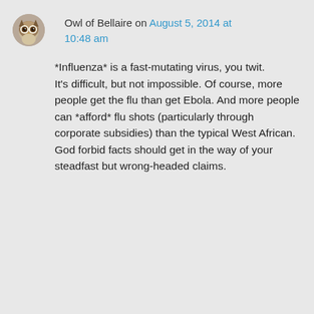[Figure (illustration): Small circular avatar image of an owl]
Owl of Bellaire on August 5, 2014 at 10:48 am
*Influenza* is a fast-mutating virus, you twit.
It's difficult, but not impossible. Of course, more people get the flu than get Ebola. And more people can *afford* flu shots (particularly through corporate subsidies) than the typical West African.
God forbid facts should get in the way of your steadfast but wrong-headed claims.